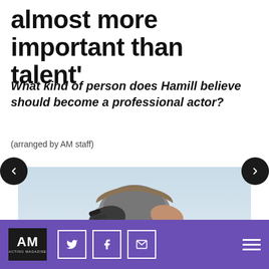almost more important than talent'
What kind of person does Hamill believe should become a professional actor?
(arranged by AM staff)
[Figure (photo): Older man with grey hair being lifted by a robotic/mechanical hand, light blue background, appears to be from a Star Wars movie scene]
AM ACTING MAGAZINE — social icons: Twitter, Facebook, Email — hamburger menu